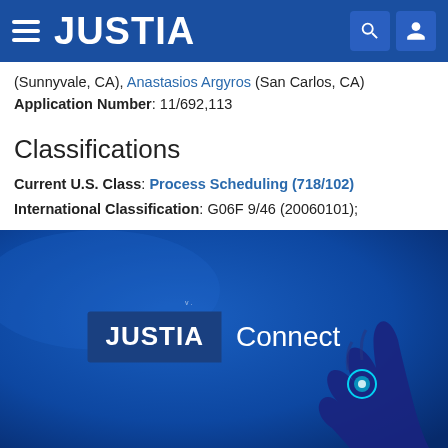JUSTIA
(Sunnyvale, CA), Anastasios Argyros (San Carlos, CA)
Application Number: 11/692,113
Classifications
Current U.S. Class: Process Scheduling (718/102)
International Classification: G06F 9/46 (20060101);
[Figure (screenshot): Justia Connect promotional banner on dark blue background with hand holding a glowing object]